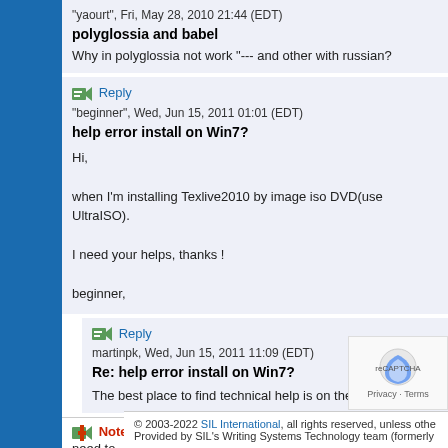"yaourt", Fri, May 28, 2010 21:44 (EDT)
polyglossia and babel
Why in polyglossia not work "--- and other with russian?
Reply
"beginner", Wed, Jun 15, 2011 01:01 (EDT)
help error install on Win7?
Hi,
when I'm installing Texlive2010 by image iso DVD(use UltraISO).
I need your helps, thanks !
beginner,
Reply
martinpk, Wed, Jun 15, 2011 11:09 (EDT)
Re: help error install on Win7?
The best place to find technical help is on the TeX Live ma
Note: If you want to add a response to this article, you need to
© 2003-2022 SIL International, all rights reserved, unless othe
Provided by SIL's Writing Systems Technology team (formerly